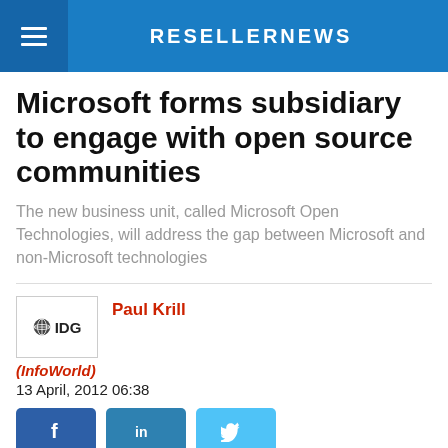RESELLERNEWS
Microsoft forms subsidiary to engage with open source communities
The new business unit, called Microsoft Open Technologies, will address the gap between Microsoft and non-Microsoft technologies
[Figure (logo): IDG logo with globe icon]
Paul Krill
(InfoWorld)
13 April, 2012 06:38
[Figure (infographic): Social sharing buttons for Facebook, LinkedIn, and Twitter]
Microsoft is spinning out a wholly owned subsidiary to